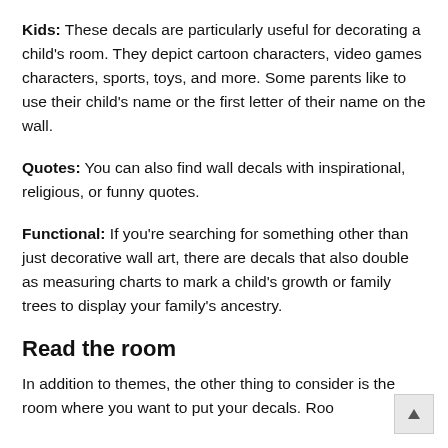Kids: These decals are particularly useful for decorating a child's room. They depict cartoon characters, video games characters, sports, toys, and more. Some parents like to use their child's name or the first letter of their name on the wall.
Quotes: You can also find wall decals with inspirational, religious, or funny quotes.
Functional: If you're searching for something other than just decorative wall art, there are decals that also double as measuring charts to mark a child's growth or family trees to display your family's ancestry.
Read the room
In addition to themes, the other thing to consider is the room where you want to put your decals. Roo